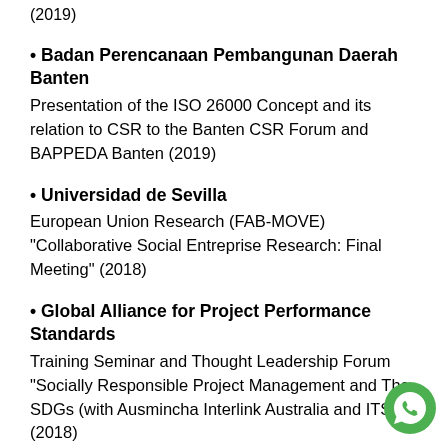(2019)
Badan Perencanaan Pembangunan Daerah Banten
Presentation of the ISO 26000 Concept and its relation to CSR to the Banten CSR Forum and BAPPEDA Banten (2019)
Universidad de Sevilla
European Union Research (FAB-MOVE) "Collaborative Social Entreprise Research: Final Meeting" (2018)
Global Alliance for Project Performance Standards
Training Seminar and Thought Leadership Forum "Socially Responsible Project Management and The SDGs (with Ausmincha Interlink Australia and ITSI) (2018)